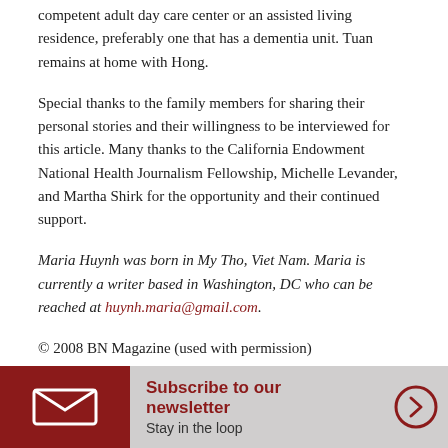competent adult day care center or an assisted living residence, preferably one that has a dementia unit. Tuan remains at home with Hong.
Special thanks to the family members for sharing their personal stories and their willingness to be interviewed for this article. Many thanks to the California Endowment National Health Journalism Fellowship, Michelle Levander, and Martha Shirk for the opportunity and their continued support.
Maria Huynh was born in My Tho, Viet Nam. Maria is currently a writer based in Washington, DC who can be reached at huynh.maria@gmail.com.
© 2008 BN Magazine (used with permission)
Subscribe to our newsletter Stay in the loop